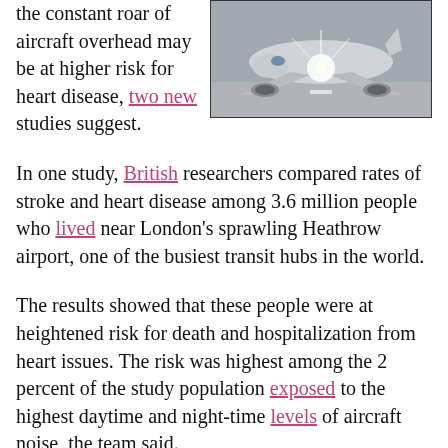[Figure (photo): Front-facing photograph of a large commercial aircraft on a runway with bright lights, taken from a low angle.]
the constant roar of aircraft overhead may be at higher risk for heart disease, two new studies suggest.
In one study, British researchers compared rates of stroke and heart disease among 3.6 million people who lived near London's sprawling Heathrow airport, one of the busiest transit hubs in the world.
The results showed that these people were at heightened risk for death and hospitalization from heart issues. The risk was highest among the 2 percent of the study population exposed to the highest daytime and night-time levels of aircraft noise, the team said.
In the second study, researchers analyzed data from more than 6 million people aged 65 and older who lived near 89 U.S. airports during 2009. On average, people who lived in zip